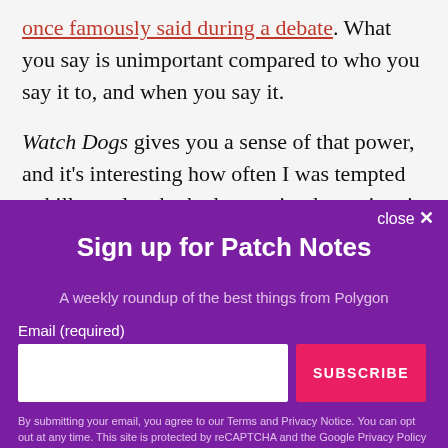once famously said during a debate. What you say is unimportant compared to who you say it to, and when you say it.
Watch Dogs gives you a sense of that power, and it's interesting how often I was tempted to kill people who had committed no crime in my presence. How often I
[Figure (screenshot): Newsletter signup overlay modal with purple background. Contains 'Sign up for Patch Notes' title, subtitle 'A weekly roundup of the best things from Polygon', email input field, SUBSCRIBE button, and legal disclaimer text. Close button in top right.]